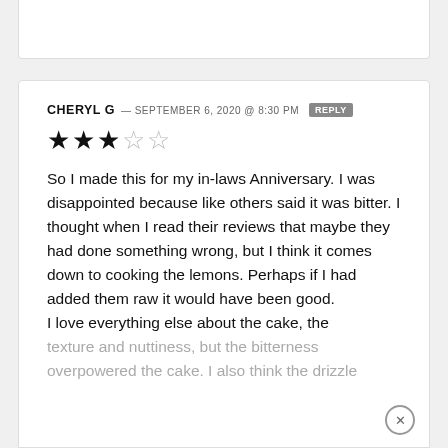CHERYL G — SEPTEMBER 6, 2020 @ 8:30 PM  REPLY
★★★☆☆
So I made this for my in-laws Anniversary. I was disappointed because like others said it was bitter. I thought when I read their reviews that maybe they had done something wrong, but I think it comes down to cooking the lemons. Perhaps if I had added them raw it would have been good.
I love everything else about the cake, the texture and nuttiness, but the bitterness overpowered the cake. I also think the drizzle